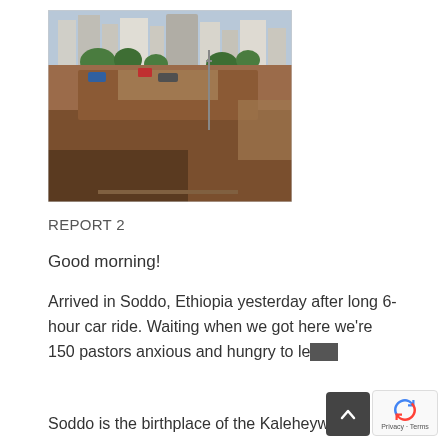[Figure (photo): Aerial or elevated view of a city area in Soddo, Ethiopia, showing buildings, trees, an open dirt/construction area, and streets with vehicles.]
REPORT 2
Good morning!
Arrived in Soddo, Ethiopia yesterday after long 6-hour car ride. Waiting when we got here we're 150 pastors anxious and hungry to learn.
Soddo is the birthplace of the Kaleheywit Church, over 90 years ago, by SIM missionaries.